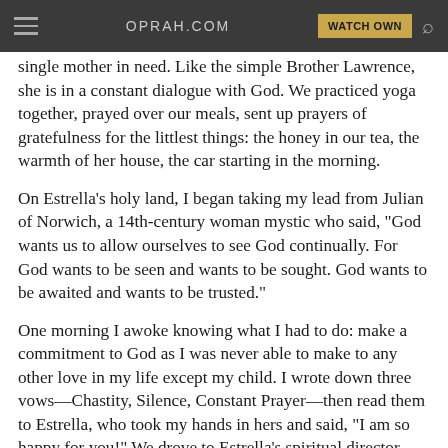OPRAH.COM | WATCH OWN
single mother in need. Like the simple Brother Lawrence, she is in a constant dialogue with God. We practiced yoga together, prayed over our meals, sent up prayers of gratefulness for the littlest things: the honey in our tea, the warmth of her house, the car starting in the morning.
On Estrella's holy land, I began taking my lead from Julian of Norwich, a 14th-century woman mystic who said, "God wants us to allow ourselves to see God continually. For God wants to be seen and wants to be sought. God wants to be awaited and wants to be trusted."
One morning I awoke knowing what I had to do: make a commitment to God as I was never able to make to any other love in my life except my child. I wrote down three vows—Chastity, Silence, Constant Prayer—then read them to Estrella, who took my hands in hers and said, "I am so happy for you!" We drove to Estrella's spiritual director, who blessed the vows in a Mass in his living room. No church official would recognize me as one, but that didn't matter, I was a nun.
At the Desert House of Prayer near Tucson, I continued